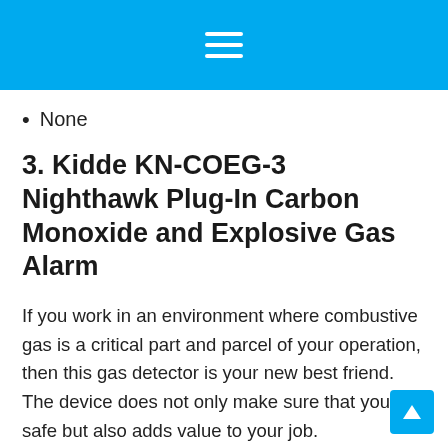None
3. Kidde KN-COEG-3 Nighthawk Plug-In Carbon Monoxide and Explosive Gas Alarm
If you work in an environment where combustive gas is a critical part and parcel of your operation, then this gas detector is your new best friend. The device does not only make sure that you are safe but also adds value to your job.
The durability of the detector is...